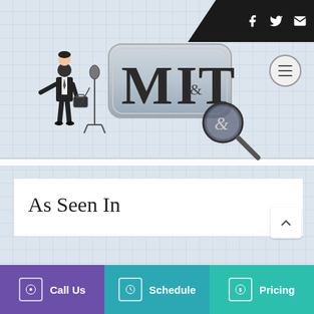[Figure (logo): MI&T logo with magnifying glass and businessman illustration, silver badge style lettering]
As Seen In
Call Us   Schedule   Pricing